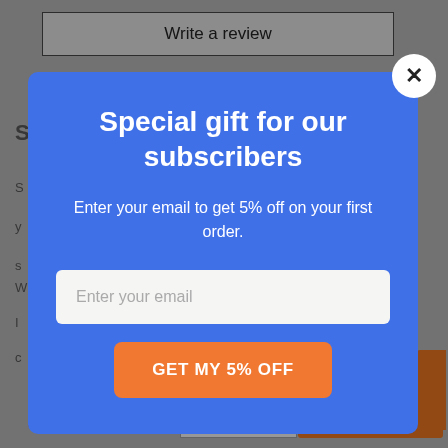Write a review
[Figure (screenshot): E-commerce product page background showing partial text, price $197.94, quantity selector (- 1 +), and BUY IT NOW button]
Special gift for our subscribers
Enter your email to get 5% off on your first order.
Enter your email
GET MY 5% OFF